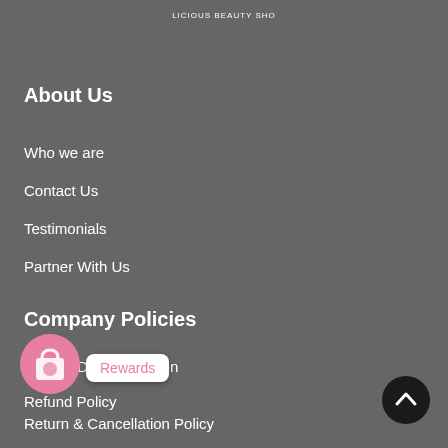[Figure (logo): Partial logo at top center showing circular badge with text 'LICIOUS BEAUTY SHO']
About Us
Who we are
Contact Us
Testimonials
Partner With Us
Company Policies
Privacy Documentation
Refund Policy
Terms & Conditions
Return & Cancellation Policy
[Figure (illustration): Pink circular floating shopping bag icon with rewards badge overlay]
[Figure (illustration): Black circular up-arrow scroll-to-top button]